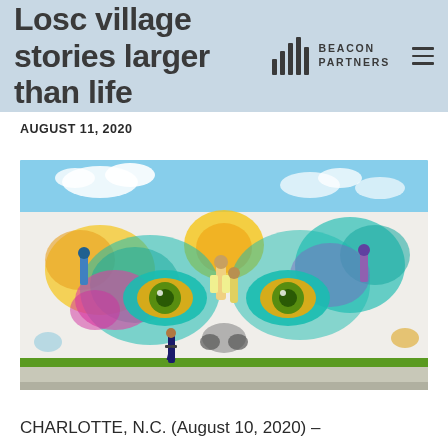Losc village stories larger than life — BEACON PARTNERS
AUGUST 11, 2020
[Figure (photo): A large colorful mural on a building wall featuring two large eyes, figures of people, and vibrant abstract swirls of teal, yellow, purple, and pink colors. A person stands in front of the mural providing scale.]
CHARLOTTE, N.C. (August 10, 2020) –